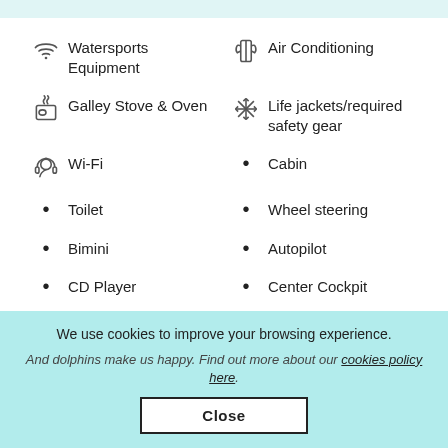Watersports Equipment
Air Conditioning
Galley Stove & Oven
Life jackets/required safety gear
Wi-Fi
Cabin
Toilet
Wheel steering
Bimini
Autopilot
CD Player
Center Cockpit
Twin Engine
Generator
We use cookies to improve your browsing experience. And dolphins make us happy. Find out more about our cookies policy here.